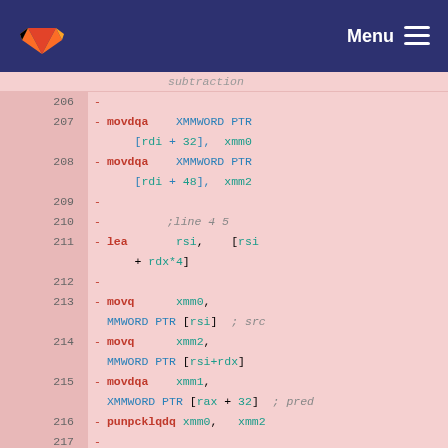Menu
[Figure (screenshot): GitLab logo (fox/tanuki icon in orange) in the top-left navigation bar]
subtraction
206  -
207  -      movdqa   XMMWORD PTR [rdi + 32],  xmm0
208  -      movdqa   XMMWORD PTR [rdi + 48],  xmm2
209  -
210  -             ;line 4 5
211  -      lea      rsi,    [rsi + rdx*4]
212  -
213  -      movq     xmm0,  MMWORD PTR [rsi]  ; src
214  -      movq     xmm2,  MMWORD PTR [rsi+rdx]
215  -      movdqa   xmm1,  XMMWORD PTR [rax + 32]  ; pred
216  -      punpcklqdq xmm0,  xmm2
217  -
218  -      movdqa   xmm2,  xmm0
219  ...